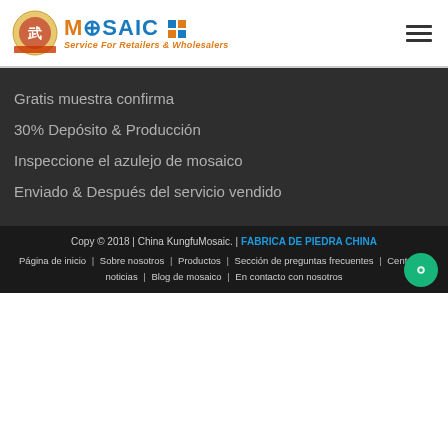MOSAIC Service For Retailers & Wholesalers
Gratis muestra confirma
30% Depósito & Producción
Inspeccione el azulejo de mosaico
Enviado & Después del servicio vendido
Copy © 2018 | China KungfuMosaic. | FÁBRICA DE PIEDRA CHINA
Página de inicio | Sobre nosotros | Productos | Sección de preguntas frecuentes | Centro de noticias | Blog de mosaico | En contacto con nosotros